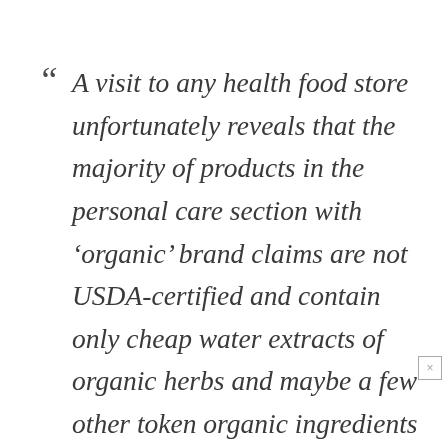“ A visit to any health food store unfortunately reveals that the majority of products in the personal care section with ‘organic’ brand claims are not USDA-certified and contain only cheap water extracts of organic herbs and maybe a few other token organic ingredients for organic veneer. The core of such products are composed of conventional synthetic cleansers